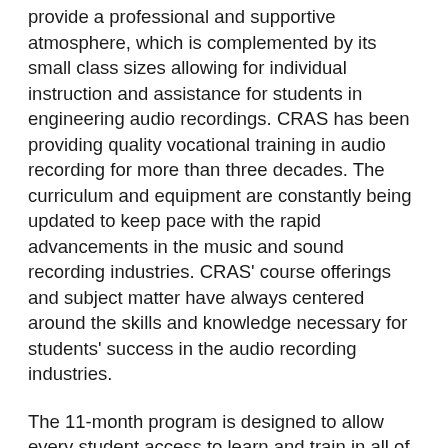provide a professional and supportive atmosphere, which is complemented by its small class sizes allowing for individual instruction and assistance for students in engineering audio recordings. CRAS has been providing quality vocational training in audio recording for more than three decades. The curriculum and equipment are constantly being updated to keep pace with the rapid advancements in the music and sound recording industries. CRAS' course offerings and subject matter have always centered around the skills and knowledge necessary for students' success in the audio recording industries.
The 11-month program is designed to allow every student access to learn and train in all of the Conservatory's studios which are comprised with state-of-the-art audio recording and mixing gear, the same equipment used in today's finest studios and remote broadcast facilities, including Pro Tools 12, API Legacy consoles, SSL AWS consoles, Studer Vista consoles, and much more. All students must complete a 280-hour industry internship to graduate from the Master Recording Program II that may ultimately lead to industry employment.
For more information on Trace Audio, @Trace_Audio_Official and www.facebook.com/Trace_Audio_Official...